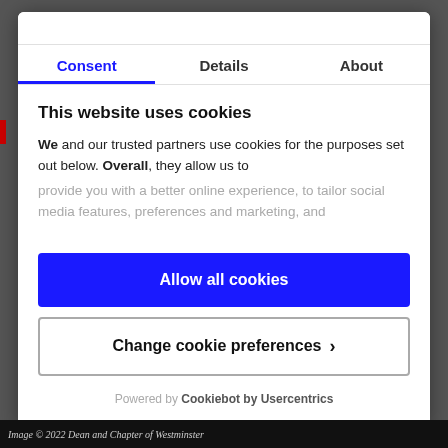Consent | Details | About
This website uses cookies
We and our trusted partners use cookies for the purposes set out below. Overall, they allow us to provide you with a better online experience, to tailor social media features, preferences and marketing, and
Allow all cookies
Change cookie preferences >
Powered by Cookiebot by Usercentrics
Image © 2022 Dean and Chapter of Westminster